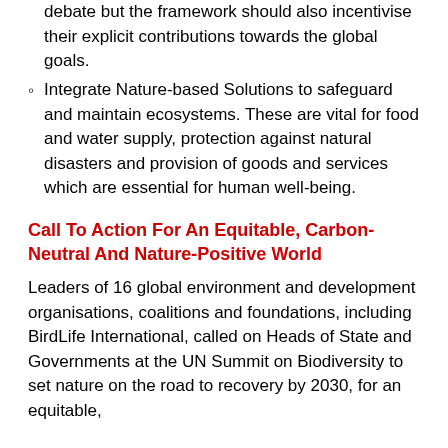debate but the framework should also incentivise their explicit contributions towards the global goals.
Integrate Nature-based Solutions to safeguard and maintain ecosystems. These are vital for food and water supply, protection against natural disasters and provision of goods and services which are essential for human well-being.
Call To Action For An Equitable, Carbon-Neutral And Nature-Positive World
Leaders of 16 global environment and development organisations, coalitions and foundations, including BirdLife International, called on Heads of State and Governments at the UN Summit on Biodiversity to set nature on the road to recovery by 2030, for an equitable,